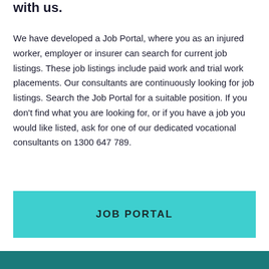with us.
We have developed a Job Portal, where you as an injured worker, employer or insurer can search for current job listings. These job listings include paid work and trial work placements. Our consultants are continuously looking for job listings. Search the Job Portal for a suitable position. If you don't find what you are looking for, or if you have a job you would like listed, ask for one of our dedicated vocational consultants on 1300 647 789.
JOB PORTAL